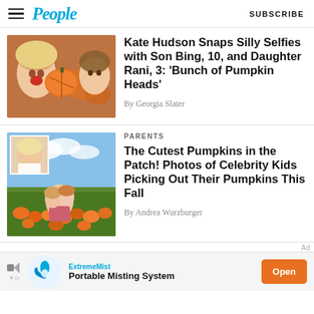People  SUBSCRIBE
[Figure (photo): Kate Hudson and son Bing taking a selfie with pumpkins]
Kate Hudson Snaps Silly Selfies with Son Bing, 10, and Daughter Rani, 3: ‘Bunch of Pumpkin Heads’
By Georgia Slater
PARENTS
[Figure (photo): Celebrity kids picking pumpkins at a pumpkin patch]
The Cutest Pumpkins in the Patch! Photos of Celebrity Kids Picking Out Their Pumpkins This Fall
By Andrea Wurzburger
Ad
[Figure (logo): ExtremeMist advertisement banner - Portable Misting System with Open button]